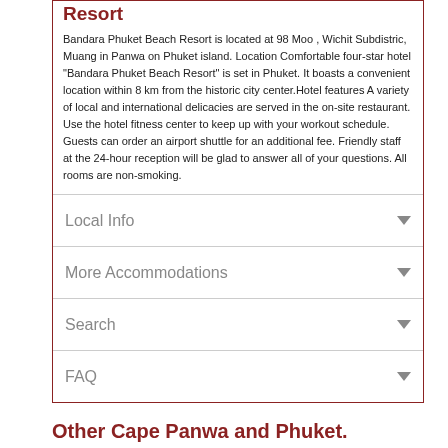Resort
Bandara Phuket Beach Resort is located at 98 Moo , Wichit Subdistric, Muang in Panwa on Phuket island. Location Comfortable four-star hotel "Bandara Phuket Beach Resort" is set in Phuket. It boasts a convenient location within 8 km from the historic city center.Hotel features A variety of local and international delicacies are served in the on-site restaurant. Use the hotel fitness center to keep up with your workout schedule. Guests can order an airport shuttle for an additional fee. Friendly staff at the 24-hour reception will be glad to answer all of your questions. All rooms are non-smoking.
Local Info
More Accommodations
Search
FAQ
Other Cape Panwa and Phuket.